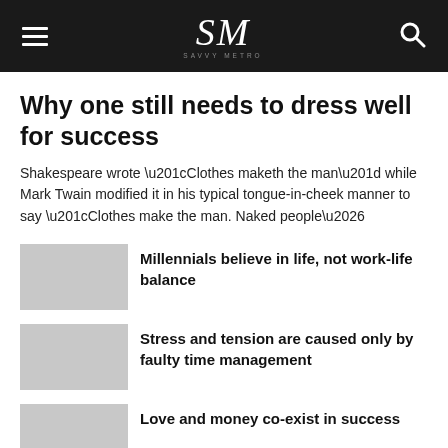SM — navigation bar with hamburger menu and search icon
Why one still needs to dress well for success
Shakespeare wrote “Clothes maketh the man” while Mark Twain modified it in his typical tongue-in-cheek manner to say “Clothes make the man. Naked people…
Millennials believe in life, not work-life balance
Stress and tension are caused only by faulty time management
Love and money co-exist in success